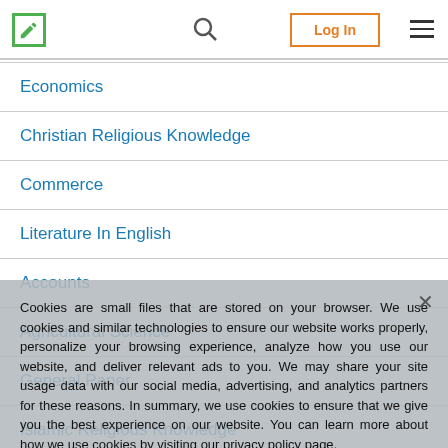Navigation bar with logo, search, Log In, and menu
Economics
Christian Religious Knowledge
Commerce
Literature In English
Accounts
Agricultural Science
General Paper
Islamic Religious Knowledge
History
Cookies are small files that are stored on your browser. We use cookies and similar technologies to ensure our website works properly, personalize your browsing experience, analyze how you use our website, and deliver relevant ads to you. We may share your site usage data with our social media, advertising, and analytics partners for these reasons. In summary, we use cookies to ensure that we give you the best experience on our website. You can learn more about how we use cookies by visiting our privacy policy page.
Okay | Privacy policy